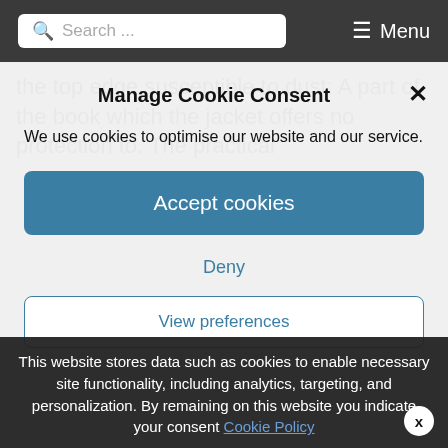Search ... Menu
the top edge susceptible to dust: A part of the book which the jacket offers no protection to. The practical
Manage Cookie Consent
We use cookies to optimise our website and our service.
Accept cookies
Deny
View preferences
This website stores data such as cookies to enable necessary site functionality, including analytics, targeting, and personalization. By remaining on this website you indicate your consent Cookie Policy
to make a book more pleasing on the eye
they are often works of art in their own right